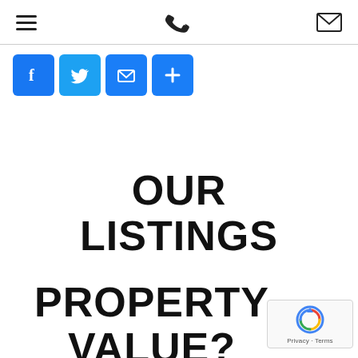Navigation bar with hamburger menu, phone icon, and email icon
[Figure (infographic): Four social share buttons: Facebook (f), Twitter (bird), Email (envelope), More (+)]
OUR LISTINGS
PROPERTY VALUE?
[Figure (other): reCAPTCHA badge widget in bottom-right corner showing Google reCAPTCHA logo and Privacy - Terms text]